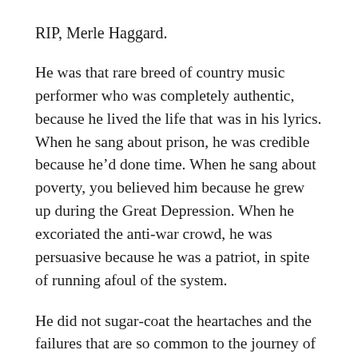RIP, Merle Haggard.
He was that rare breed of country music performer who was completely authentic, because he lived the life that was in his lyrics. When he sang about prison, he was credible because he’d done time. When he sang about poverty, you believed him because he grew up during the Great Depression. When he excoriated the anti-war crowd, he was persuasive because he was a patriot, in spite of running afoul of the system.
He did not sugar-coat the heartaches and the failures that are so common to the journey of life; as do the country singers of today. He